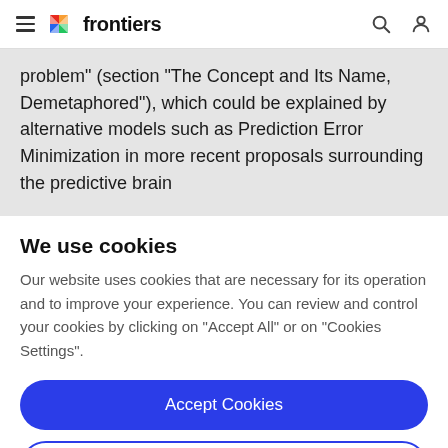frontiers
problem" (section "The Concept and Its Name, Demetaphored"), which could be explained by alternative models such as Prediction Error Minimization in more recent proposals surrounding the predictive brain
We use cookies
Our website uses cookies that are necessary for its operation and to improve your experience. You can review and control your cookies by clicking on "Accept All" or on "Cookies Settings".
Accept Cookies
Cookies Settings